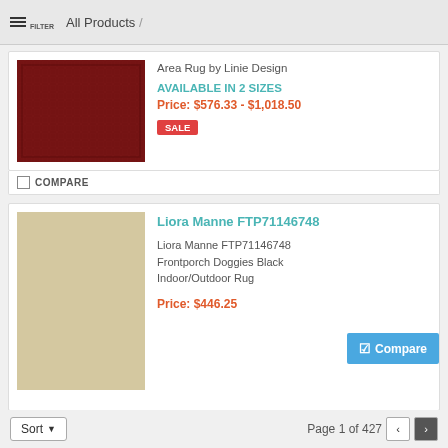FILTER  All Products /
[Figure (photo): Dark red/burgundy area rug product image]
Area Rug by Linie Design
AVAILABLE IN 2 SIZES
Price: $576.33 - $1,018.50
SALE
COMPARE
Liora Manne FTP71146748
[Figure (photo): Beige rug with black dog silhouette pattern (Frontporch Doggies Black Indoor/Outdoor Rug)]
Liora Manne FTP71146748
Frontporch Doggies Black
Indoor/Outdoor Rug
Price: $446.25
Compare
COMPARE
Sort  Page 1 of 427